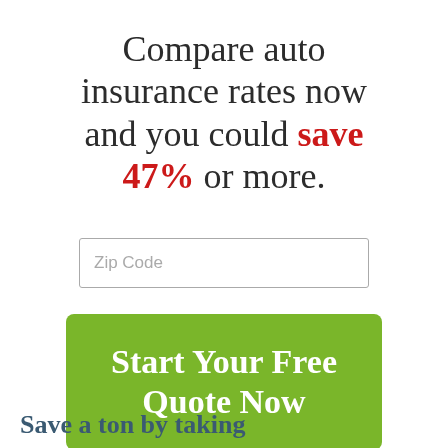Compare auto insurance rates now and you could save 47% or more.
Zip Code
Start Your Free Quote Now
Save a ton by taking